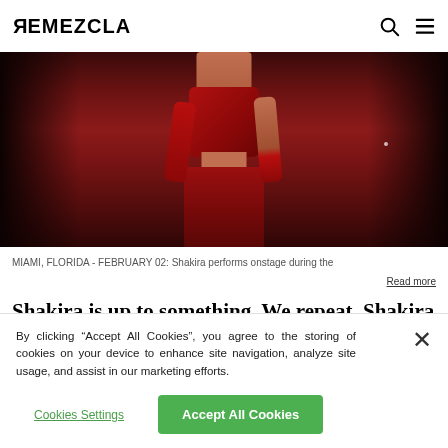REMEZCLA
[Figure (photo): Shakira performing onstage wearing a red sequined outfit, holding a microphone, with crowd in background]
MIAMI, FLORIDA - FEBRUARY 02: Shakira performs onstage during the
Read more
Shakira is up to something. We repeat, Shakira is up to
By clicking “Accept All Cookies”, you agree to the storing of cookies on your device to enhance site navigation, analyze site usage, and assist in our marketing efforts.
Cookies Settings  Accept All Cookies